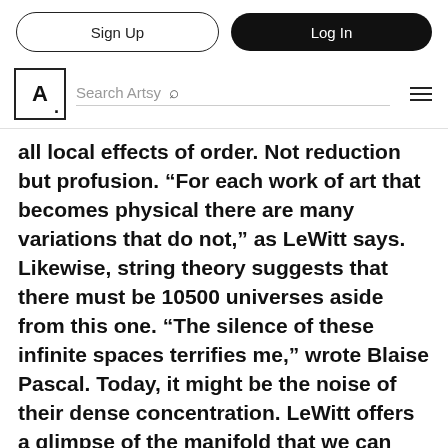Sign Up | Log In | Search Artsy
all local effects of order. Not reduction but profusion. “For each work of art that becomes physical there are many variations that do not,” as LeWitt says. Likewise, string theory suggests that there must be 10500 universes aside from this one. “The silence of these infinite spaces terrifies me,” wrote Blaise Pascal. Today, it might be the noise of their dense concentration. LeWitt offers a glimpse of the manifold that we can tolerate, even enjoy.